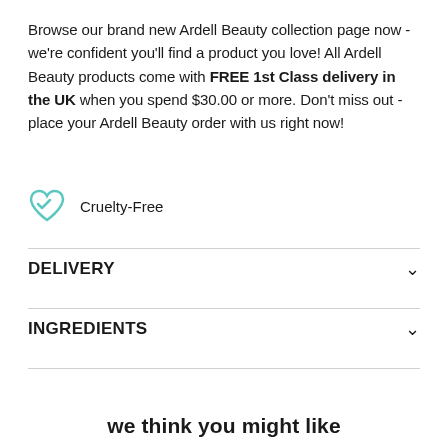Browse our brand new Ardell Beauty collection page now - we're confident you'll find a product you love! All Ardell Beauty products come with FREE 1st Class delivery in the UK when you spend $30.00 or more. Don't miss out - place your Ardell Beauty order with us right now!
[Figure (illustration): Teal/mint outlined heart icon representing cruelty-free]
Cruelty-Free
DELIVERY
INGREDIENTS
we think you might like